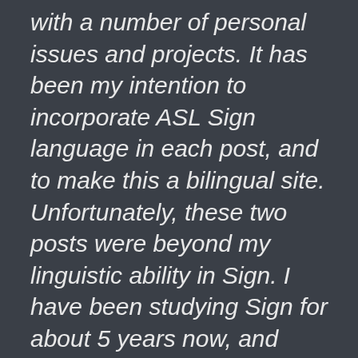with a number of personal issues and projects. It has been my intention to incorporate ASL Sign language in each post, and to make this a bilingual site. Unfortunately, these two posts were beyond my linguistic ability in Sign. I have been studying Sign for about 5 years now, and although I have gotten significantly better, these were quite simply beyond my ken.
However – and this is important – Felix's next parole hearing is coming up on September 27th. Eleven days from this posting. I will get a Sign post put up this